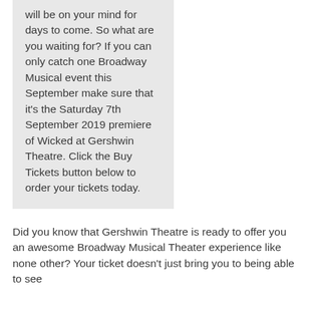will be on your mind for days to come. So what are you waiting for? If you can only catch one Broadway Musical event this September make sure that it's the Saturday 7th September 2019 premiere of Wicked at Gershwin Theatre. Click the Buy Tickets button below to order your tickets today.
Did you know that Gershwin Theatre is ready to offer you an awesome Broadway Musical Theater experience like none other? Your ticket doesn't just bring you to being able to see